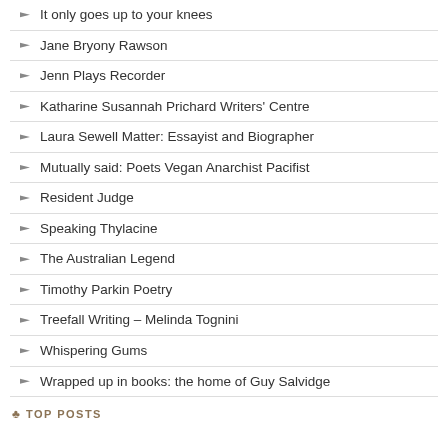It only goes up to your knees
Jane Bryony Rawson
Jenn Plays Recorder
Katharine Susannah Prichard Writers' Centre
Laura Sewell Matter: Essayist and Biographer
Mutually said: Poets Vegan Anarchist Pacifist
Resident Judge
Speaking Thylacine
The Australian Legend
Timothy Parkin Poetry
Treefall Writing – Melinda Tognini
Whispering Gums
Wrapped up in books: the home of Guy Salvidge
TOP POSTS